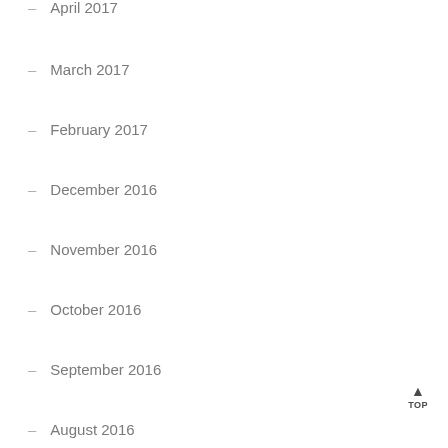April 2017
March 2017
February 2017
December 2016
November 2016
October 2016
September 2016
August 2016
July 2016
May 2016
April 2016
March 2016
February 2016